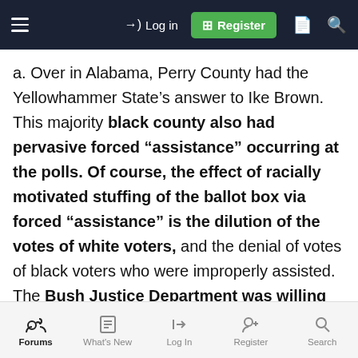Log in | Register
a. Over in Alabama, Perry County had the Yellowhammer State’s answer to Ike Brown. This majority black county also had pervasive forced “assistance” occurring at the polls. Of course, the effect of racially motivated stuffing of the ballot box via forced “assistance” is the dilution of the votes of white voters, and the denial of votes of black voters who were improperly assisted. The Bush Justice Department was willing to investigate the claims and monitor elections there. But many within the Department were opposed to closely monitoring this
Forums | What's New | Log In | Register | Search